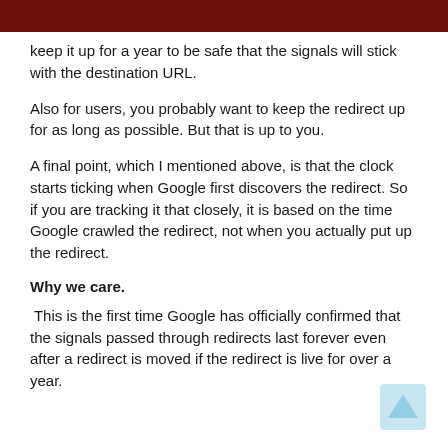keep it up for a year to be safe that the signals will stick with the destination URL.
Also for users, you probably want to keep the redirect up for as long as possible. But that is up to you.
A final point, which I mentioned above, is that the clock starts ticking when Google first discovers the redirect. So if you are tracking it that closely, it is based on the time Google crawled the redirect, not when you actually put up the redirect.
Why we care.
This is the first time Google has officially confirmed that the signals passed through redirects last forever even after a redirect is moved if the redirect is live for over a year.